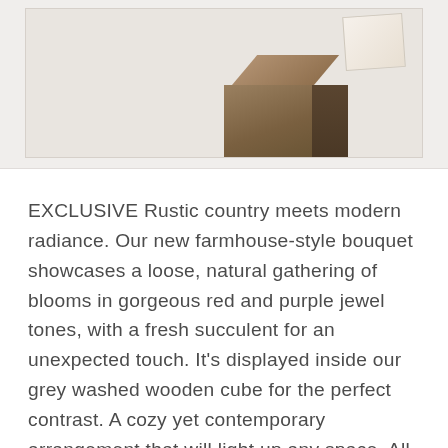[Figure (photo): Partial view of a farmhouse-style flower bouquet in a grey washed wooden cube, displayed on a light neutral background. A small decorative photo or card is visible in the upper right corner.]
EXCLUSIVE Rustic country meets modern radiance. Our new farmhouse-style bouquet showcases a loose, natural gathering of blooms in gorgeous red and purple jewel tones, with a fresh succulent for an unexpected touch. It's displayed inside our grey washed wooden cube for the perfect contrast. A cozy yet contemporary arrangement that will light up any space. All-around arrangement with red roses. Matsumoto asters and